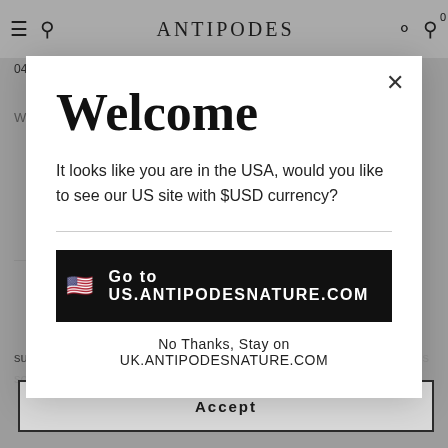Antipodes — nav bar with hamburger, search, logo, user, cart (0)
04/02/2022 by Cindy  **Verified Purchase**
Welcome
It looks like you are in the USA, would you like to see our US site with $USD currency?
Go to US.ANTIPODESNATURE.COM
No Thanks, Stay on UK.ANTIPODESNATURE.COM
such partner is Google. For more information see our cookie policy. It's so smooth and luxurious. This product
Accept